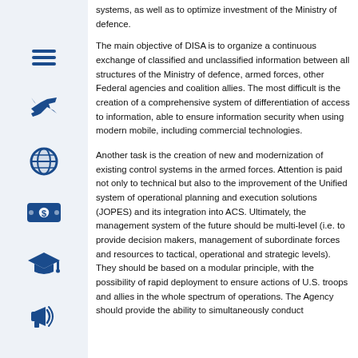systems, as well as to optimize investment of the Ministry of defence.
The main objective of DISA is to organize a continuous exchange of classified and unclassified information between all structures of the Ministry of defence, armed forces, other Federal agencies and coalition allies. The most difficult is the creation of a comprehensive system of differentiation of access to information, able to ensure information security when using modern mobile, including commercial technologies.
Another task is the creation of new and modernization of existing control systems in the armed forces. Attention is paid not only to technical but also to the improvement of the Unified system of operational planning and execution solutions (JOPES) and its integration into ACS. Ultimately, the management system of the future should be multi-level (i.e. to provide decision makers, management of subordinate forces and resources to tactical, operational and strategic levels). They should be based on a modular principle, with the possibility of rapid deployment to ensure actions of U.S. troops and allies in the whole spectrum of operations. The Agency should provide the ability to simultaneously conduct